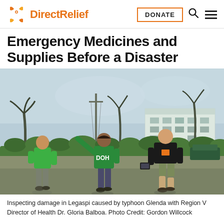Direct Relief | DONATE
Emergency Medicines and Supplies Before a Disaster
[Figure (photo): Three people walking away from camera on a road after typhoon damage. Left person wears a green shirt, center person wears a green DOH vest with arm pointing forward, right person wears a black Direct Relief shirt and carries a tablet. Background shows storm-damaged palm trees, utility poles, green hedges, and a white building.]
Inspecting damage in Legaspi caused by typhoon Glenda with Region V Director of Health Dr. Gloria Balboa. Photo Credit: Gordon Willcock